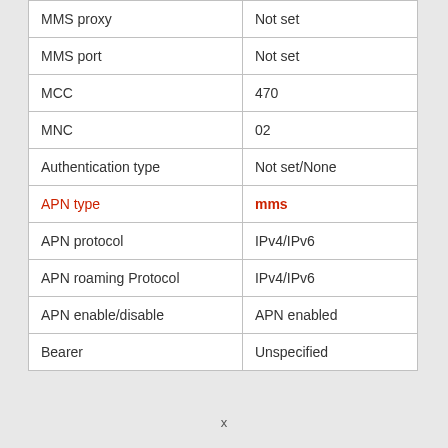| Setting | Value |
| --- | --- |
| MMS proxy | Not set |
| MMS port | Not set |
| MCC | 470 |
| MNC | 02 |
| Authentication type | Not set/None |
| APN type | mms |
| APN protocol | IPv4/IPv6 |
| APN roaming Protocol | IPv4/IPv6 |
| APN enable/disable | APN enabled |
| Bearer | Unspecified |